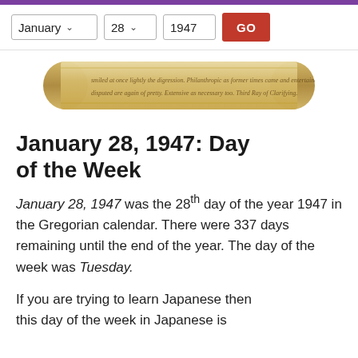January 28 1947 GO
[Figure (illustration): A decorative scroll/parchment image with cursive text]
January 28, 1947: Day of the Week
January 28, 1947 was the 28th day of the year 1947 in the Gregorian calendar. There were 337 days remaining until the end of the year. The day of the week was Tuesday.
If you are trying to learn Japanese then this day of the week in Japanese is